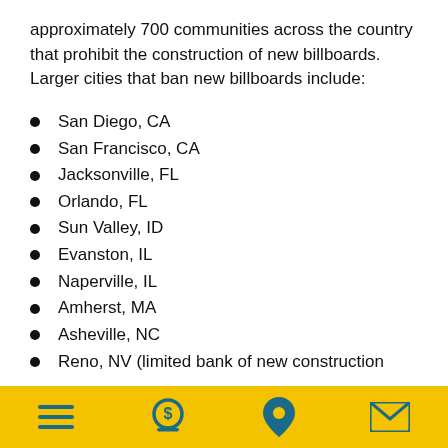approximately 700 communities across the country that prohibit the construction of new billboards. Larger cities that ban new billboards include:
San Diego, CA
San Francisco, CA
Jacksonville, FL
Orlando, FL
Sun Valley, ID
Evanston, IL
Naperville, IL
Amherst, MA
Asheville, NC
Reno, NV (limited bank of new construction